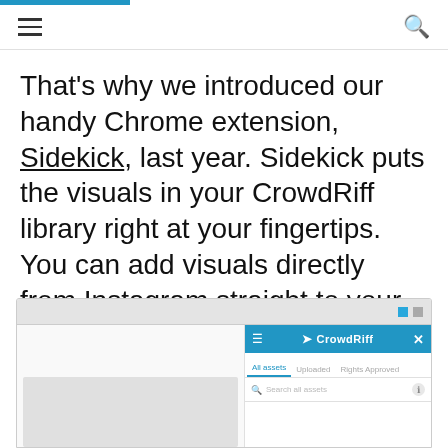≡  🔍
That's why we introduced our handy Chrome extension, Sidekick, last year. Sidekick puts the visuals in your CrowdRiff library right at your fingertips. You can add visuals directly from Instagram straight to your collection, and access them anywhere you need them.
[Figure (screenshot): Screenshot of a browser window showing the CrowdRiff Sidekick Chrome extension panel open on the right side, with tabs: All assets, Uploaded, Rights Approved, and a Search all assets bar.]